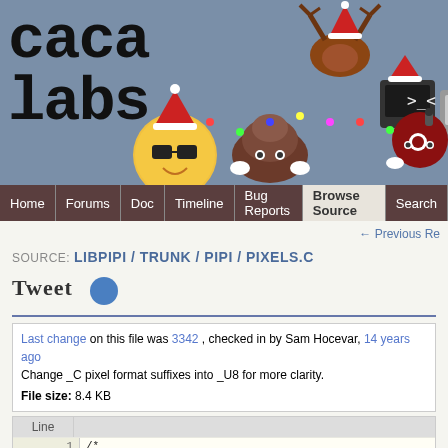[Figure (screenshot): Website header banner with cartoon characters (emoji face, reindeer, computer terminals, poop emoji, bomb) on a blue-grey background with text 'caca labs']
caca labs
Home | Forums | Doc | Timeline | Bug Reports | Browse Source | Search
← Previous Re
SOURCE: LIBPIPI / TRUNK / PIPI / PIXELS.C
Tweet
Last change on this file was 3342, checked in by Sam Hocevar, 14 years ago
Change _C pixel format suffixes into _U8 for more clarity.
File size: 8.4 KB
| Line |  |
| --- | --- |
| 1 | /* |
| 2 | *   libpipi       Pathetic image processing interface lib |
| 3 | *   Copyright (c) 2004-2008 Sam Hocevar <sam@zoy.org> |
| 4 | *              All Rights Reserved |
| 5 | * |
| 6 | *   $Id$ |
| 7 | * |